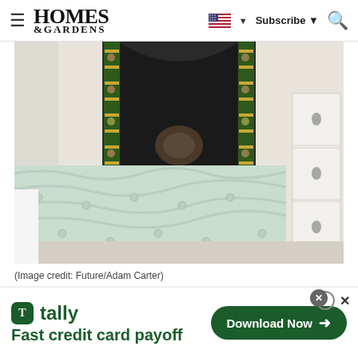≡  HOMES & GARDENS  🇺🇸 ▼  Subscribe ▼  🔍
[Figure (photo): Bedroom scene showing a Victorian cast-iron fireplace with ornate tile surround and a mint green quilted throw blanket on a white bed, with a white bedside table visible on the right.]
(Image credit: Future/Adam Carter)
BATHROOM
[Figure (infographic): Advertisement banner for Tally app: 'Fast credit card payoff' with a Download Now button.]